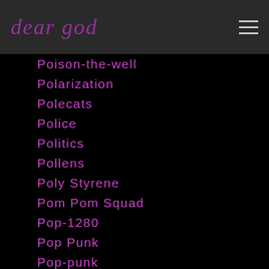dear god
Poison-the-well
Polarization
Polecats
Police
Politics
Pollens
Poly Styrene
Pom Pom Squad
Pop-1280
Pop Punk
Pop-punk
Poptone
Porno For Pyros
Portishead
Portlandia
Posdnuos
Positive-force